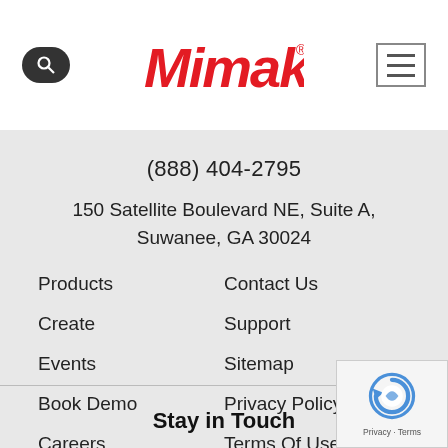[Figure (logo): Mimaki red logo text with registered trademark symbol, centered in white header]
(888) 404-2795
150 Satellite Boulevard NE, Suite A, Suwanee, GA 30024
Products
Create
Events
Book Demo
Careers
Contact Us
Support
Sitemap
Privacy Policy
Terms Of Use
Stay in Touch